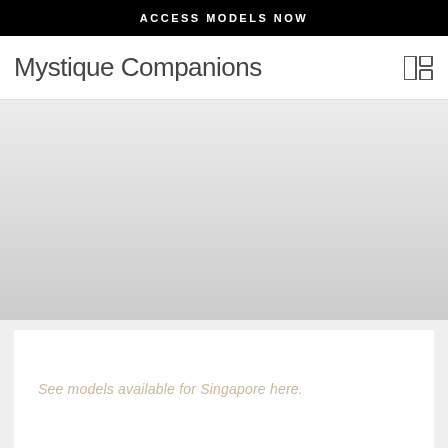ACCESS MODELS NOW
Mystique Companions
[Figure (screenshot): Gray gradient placeholder area representing a content region]
See models available for Singapore here.